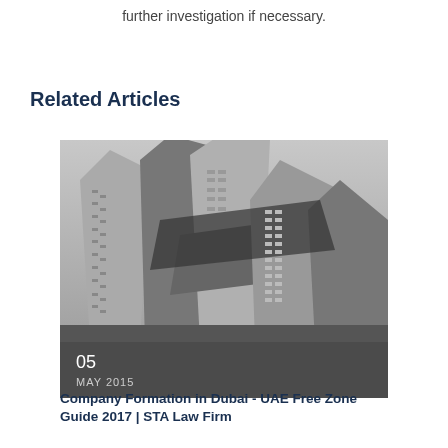further investigation if necessary.
Related Articles
[Figure (photo): Black and white photograph of modern skyscrapers shot from a low angle, showing geometric angular architecture against a light sky.]
05
MAY 2015
Company Formation in Dubai - UAE Free Zone Guide 2017 | STA Law Firm